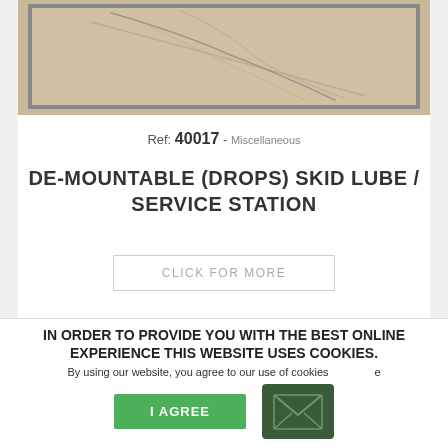[Figure (photo): Overhead photo of a ground surface with diagonal crack lines, shown in a gray-bordered frame]
Ref: 40017 - Miscellaneous
DE-MOUNTABLE (DROPS) SKID LUBE / SERVICE STATION
CLICK FOR MORE
IN ORDER TO PROVIDE YOU WITH THE BEST ONLINE EXPERIENCE THIS WEBSITE USES COOKIES.
By using our website, you agree to our use of cookies...
I AGREE